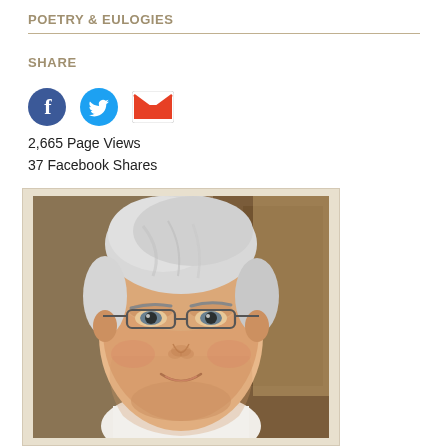POETRY & EULOGIES
SHARE
2,665 Page Views
37 Facebook Shares
[Figure (photo): Portrait photo of an older man with white hair and glasses, wearing a white shirt, smiling slightly, photographed indoors.]